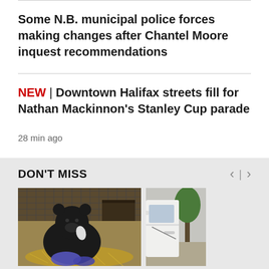Some N.B. municipal police forces making changes after Chantel Moore inquest recommendations
NEW | Downtown Halifax streets fill for Nathan Mackinnon's Stanley Cup parade
28 min ago
DON'T MISS
[Figure (photo): A black bear sitting in a cage enclosure with hay on the ground, holding something with blue fabric nearby]
[Figure (photo): Partial view of a car outdoors with a tree in the background]